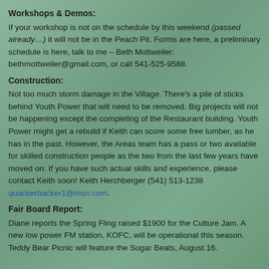Workshops & Demos:
If your workshop is not on the schedule by this weekend (passed already…) it will not be in the Peach Pit. Forms are here, a preliminary schedule is here, talk to me – Beth Mottweiler: bethmottweiler@gmail.com, or call 541-525-9588.
Construction:
Not too much storm damage in the Village. There's a pile of sticks behind Youth Power that will need to be removed. Big projects will not be happening except the completing of the Restaurant building. Youth Power might get a rebuild if Keith can score some free lumber, as he has in the past. However, the Areas team has a pass or two available for skilled construction people as the two from the last few years have moved on. If you have such actual skills and experience, please contact Keith soon! Keith Herchberger (541) 513-1238 quackerbacker1@msn.com.
Fair Board Report:
Diane reports the Spring Fling raised $1900 for the Culture Jam. A new low power FM station, KOFC, will be operational this season. Teddy Bear Picnic will feature the Sugar Beats, August 16.